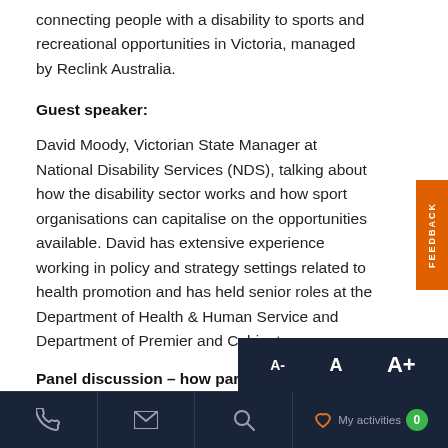connecting people with a disability to sports and recreational opportunities in Victoria, managed by Reclink Australia.
Guest speaker:
David Moody, Victorian State Manager at National Disability Services (NDS), talking about how the disability sector works and how sport organisations can capitalise on the opportunities available. David has extensive experience working in policy and strategy settings related to health promotion and has held senior roles at the Department of Health & Human Service and Department of Premier and Cabinet.
Panel discussion – how participation by peo